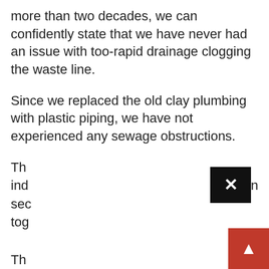more than two decades, we can confidently state that we have never had an issue with too-rapid drainage clogging the waste line.
Since we replaced the old clay plumbing with plastic piping, we have not experienced any sewage obstructions.
Th[...obscured by close button...]on ind sec tog
Th[...] e wa[...] ed an[...] d an[...]